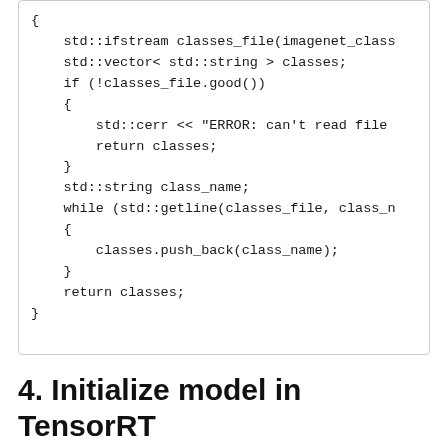{
    std::ifstream classes_file(imagenet_class
    std::vector< std::string > classes;
    if (!classes_file.good())
    {
        std::cerr << "ERROR: can't read file
        return classes;
    }
    std::string class_name;
    while (std::getline(classes_file, class_n
    {
        classes.push_back(class_name);
    }
    return classes;
}
4. Initialize model in TensorRT